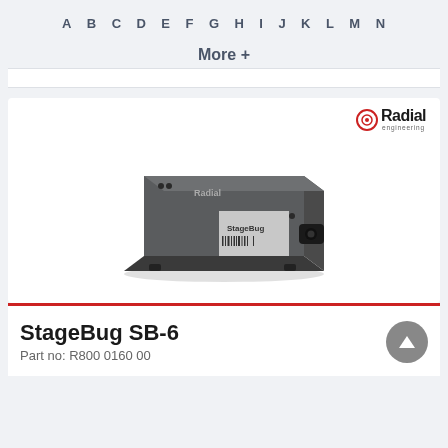A B C D E F G H I J K L M N
More +
[Figure (photo): Radial StageBug SB-6 direct box product photo — a dark grey rectangular metal box with the Radial and StageBug logos on top, along with connectors on the side.]
StageBug SB-6
Part no: R800 0160 00